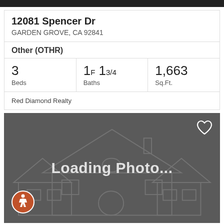12081 Spencer Dr
GARDEN GROVE, CA 92841
Other (OTHR)
3 Beds
1F 13/4 Baths
1,663 Sq.Ft.
Red Diamond Realty
[Figure (screenshot): Loading photo placeholder with gray background showing a faint house illustration outline, 'Loading Photo...' text in white, a heart icon in top right, and an accessibility icon in the bottom left.]